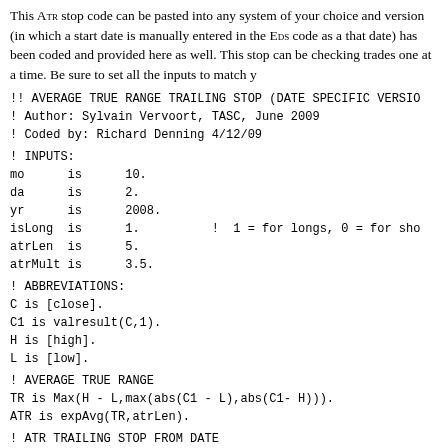This ATR stop code can be pasted into any system of your choice and version (in which a start date is manually entered in the EDS code as a that date) has been coded and provided here as well. This stop can be checking trades one at a time. Be sure to set all the inputs to match y
!! AVERAGE TRUE RANGE TRAILING STOP (DATE SPECIFIC VERSIO
! Author: Sylvain Vervoort, TASC, June 2009
! Coded by: Richard Denning 4/12/09
! INPUTS:
mo     is     10.
da     is     2.
yr     is     2008.
isLong is     1.          !  1 = for longs, 0 = for sho
atrLen is     5.
atrMult is    3.5.
! ABBREVIATIONS:
C is [close].
C1 is valresult(C,1).
H is [high].
L is [low].
! AVERAGE TRUE RANGE
TR is Max(H - L,max(abs(C1 - L),abs(C1- H))).
ATR is expAvg(TR,atrLen).
! ATR TRAILING STOP FROM DATE